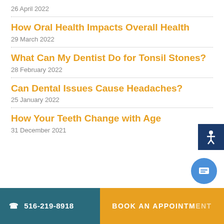26 April 2022
How Oral Health Impacts Overall Health
29 March 2022
What Can My Dentist Do for Tonsil Stones?
28 February 2022
Can Dental Issues Cause Headaches?
25 January 2022
How Your Teeth Change with Age
31 December 2021
516-219-8918  BOOK AN APPOINTMENT